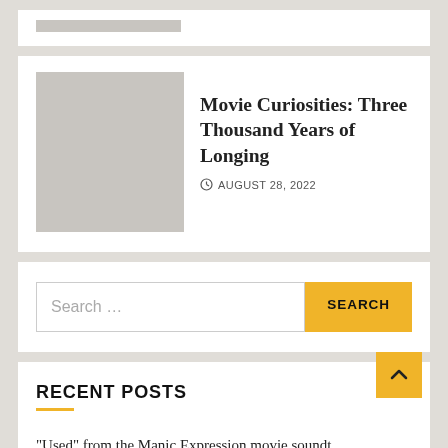[Figure (photo): Gray placeholder image thumbnail (top stub, cropped)]
Movie Curiosities: Three Thousand Years of Longing
AUGUST 28, 2022
Search ...
RECENT POSTS
“Used” from the Manic Expression movie soundt…
The Mighty Morphin Inurangers’ Movie Morphin